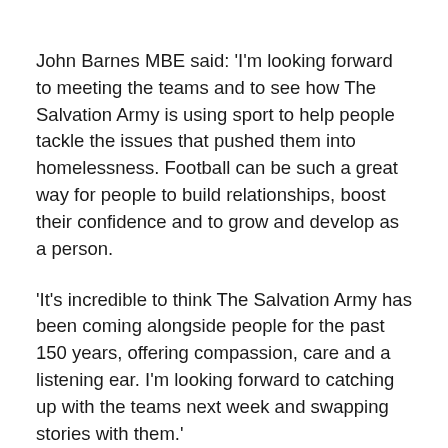John Barnes MBE said: 'I'm looking forward to meeting the teams and to see how The Salvation Army is using sport to help people tackle the issues that pushed them into homelessness. Football can be such a great way for people to build relationships, boost their confidence and to grow and develop as a person.
'It's incredible to think The Salvation Army has been coming alongside people for the past 150 years, offering compassion, care and a listening ear. I'm looking forward to catching up with the teams next week and swapping stories with them.'
The Salvation Army's Partnership Trophy is an